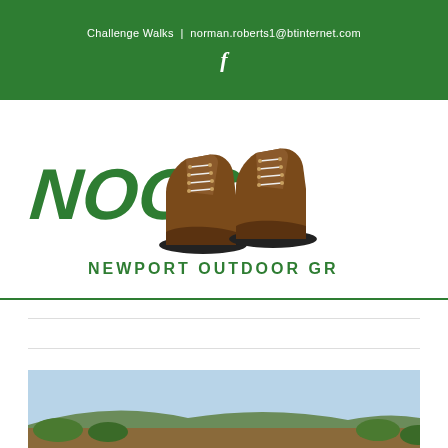Challenge Walks | norman.roberts1@btinternet.com
[Figure (logo): NOGS Newport Outdoor Group logo with two brown hiking boots and green italic NOGS lettering above 'NEWPORT OUTDOOR GROUP']
[Figure (photo): Outdoor countryside landscape photo, partially visible at bottom of page]